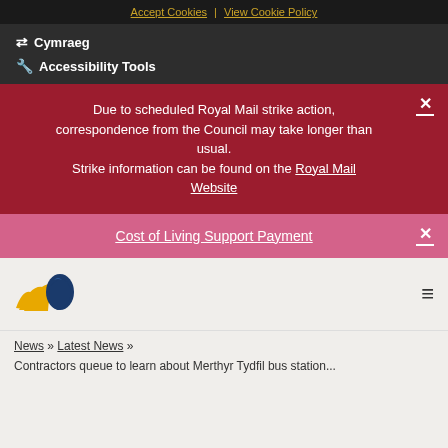Accept Cookies | View Cookie Policy
⇄ Cymraeg
🔧 Accessibility Tools
Due to scheduled Royal Mail strike action, correspondence from the Council may take longer than usual. Strike information can be found on the Royal Mail Website
Cost of Living Support Payment
[Figure (logo): Merthyr Tydfil Council logo - stylized yellow wings with blue face profile]
News » Latest News »
Contractors queue to learn about Merthyr Tydfil bus station...